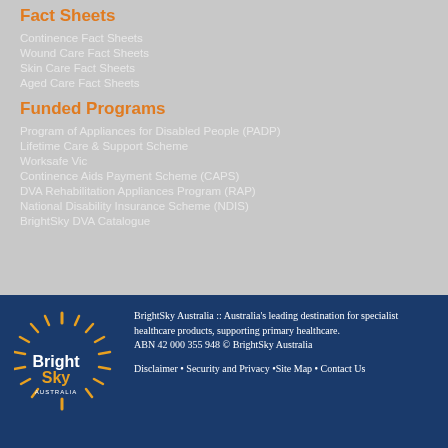Fact Sheets
Continence Fact Sheets
Wound Care Fact Sheets
Skin Care Fact Sheets
Aged Care Fact Sheets
Funded Programs
Program of Appliances for Disabled People (PADP)
Lifetime Care & Support Scheme
Worksafe Vic
Continence Aids Payment Scheme (CAPS)
DVA Rehabilitation Appliances Program (RAP)
National Disability Insurance Scheme (NDIS)
BrightSky DVA Catalogue
[Figure (logo): BrightSky Australia logo with sun rays graphic and text 'Bright Sky AUSTRALIA']
BrightSky Australia :: Australia's leading destination for specialist healthcare products, supporting primary healthcare.
ABN 42 000 355 948 © BrightSky Australia
Disclaimer • Security and Privacy •Site Map • Contact Us